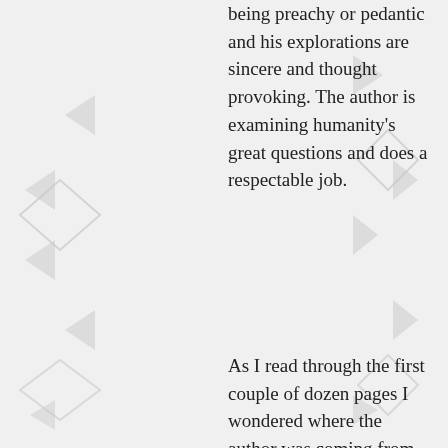being preachy or pedantic and his explorations are sincere and thought provoking. The author is examining humanity's great questions and does a respectable job.
As I read through the first couple of dozen pages I wondered where the author was coming from, was it a Western literary and philosophical perspective, I wondered, or from the perspective of Islam, which is infused into the author's writing right from the start through references to Ali ibn Abu Talib. Then the Buddha's teachings, biblical references, popular self-help material, Sufism, and other